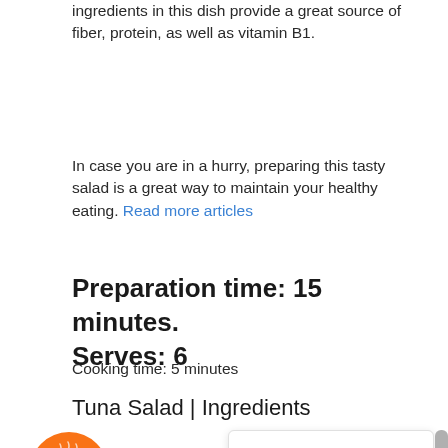ingredients in this dish provide a great source of fiber, protein, as well as vitamin B1.
In case you are in a hurry, preparing this tasty salad is a great way to maintain your healthy eating. Read more articles
Preparation time: 15 minutes. Serves: 6
Cooking time: 5 minutes
Tuna Salad | Ingredients
Thank you for visiting. You can now buy me a coffee!
[Figure (screenshot): Bottom portion of a food/recipe website page showing a coffee support button and popup notification, with a partial image of food at the bottom]